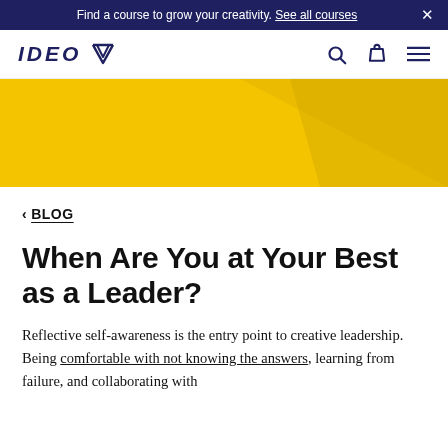Find a course to grow your creativity. See all courses ×
[Figure (logo): IDEO U logo with diamond/chevron shape in dark navy blue, with search, bag and hamburger menu icons on right]
[Figure (illustration): Yellow/gold geometric hero banner with diagonal lighter gold triangle shape on right side]
< BLOG
When Are You at Your Best as a Leader?
Reflective self-awareness is the entry point to creative leadership. Being comfortable with not knowing the answers, learning from failure, and collaborating with